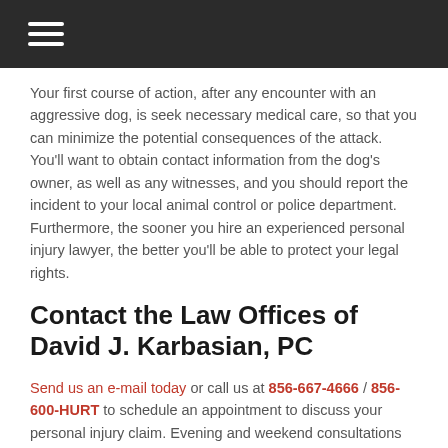≡
Your first course of action, after any encounter with an aggressive dog, is seek necessary medical care, so that you can minimize the potential consequences of the attack. You'll want to obtain contact information from the dog's owner, as well as any witnesses, and you should report the incident to your local animal control or police department. Furthermore, the sooner you hire an experienced personal injury lawyer, the better you'll be able to protect your legal rights.
Contact the Law Offices of David J. Karbasian, PC
Send us an e-mail today or call us at 856-667-4666 / 856-600-HURT to schedule an appointment to discuss your personal injury claim. Evening and weekend consultations are available upon request. We can come to your home or the hospital to meet with you, if